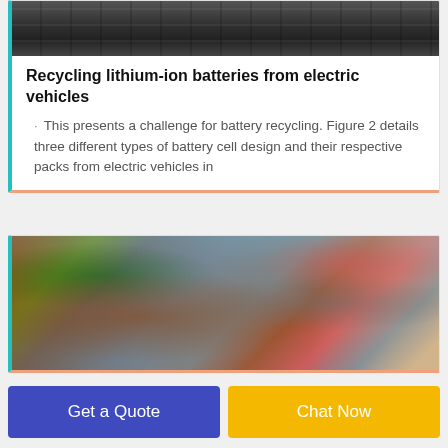[Figure (photo): Top photo showing industrial machinery silhouettes against a dark background]
Recycling lithium-ion batteries from electric vehicles
This presents a challenge for battery recycling. Figure 2 details three different types of battery cell design and their respective packs from electric vehicles in
[Figure (photo): Photo of industrial recycling machinery including shredder and processing equipment in an outdoor yard setting with buildings in background]
Get a Quote
Chat Now